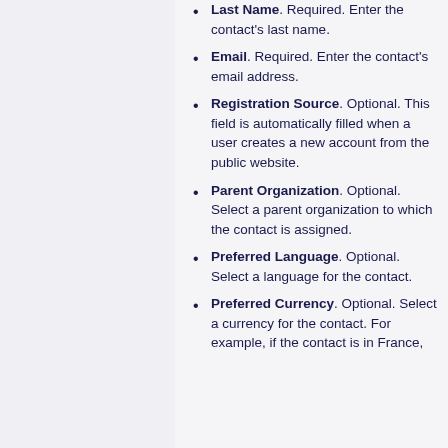Last Name. Required. Enter the contact's last name.
Email. Required. Enter the contact's email address.
Registration Source. Optional. This field is automatically filled when a user creates a new account from the public website.
Parent Organization. Optional. Select a parent organization to which the contact is assigned.
Preferred Language. Optional. Select a language for the contact.
Preferred Currency. Optional. Select a currency for the contact. For example, if the contact is in France,